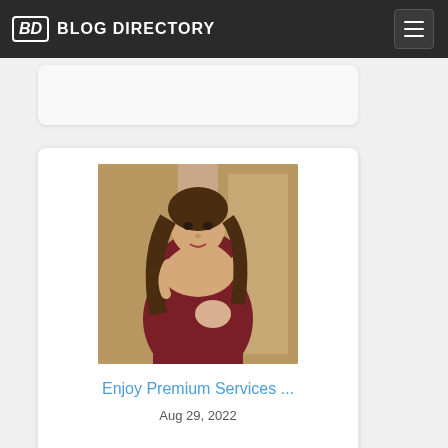BD BLOG DIRECTORY
[Figure (photo): Blog directory card with photo of a woman in a dark red off-shoulder dress]
Enjoy Premium Services ...
Aug 29, 2022